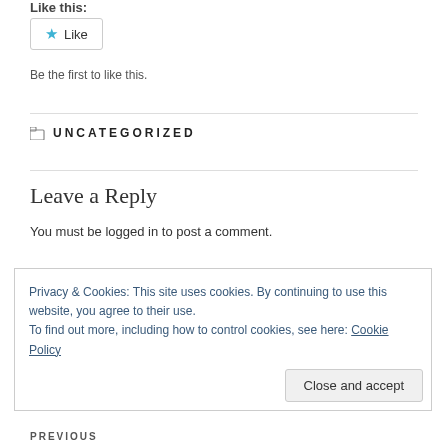Like this:
[Figure (other): Like button widget with star icon]
Be the first to like this.
UNCATEGORIZED
Leave a Reply
You must be logged in to post a comment.
Privacy & Cookies: This site uses cookies. By continuing to use this website, you agree to their use.
To find out more, including how to control cookies, see here: Cookie Policy
PREVIOUS